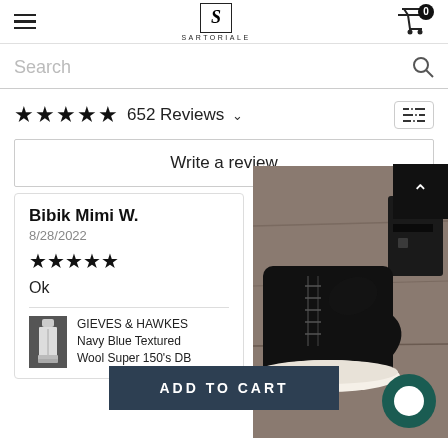SARTORIALE — navigation header with hamburger menu, logo, and cart (0 items)
Search
★★★★★ 652 Reviews
Write a review
Bibik Mimi W.
8/28/2022
★★★★★
Ok
GIEVES & HAWKES Navy Blue Textured Wool Super 150's DB
[Figure (photo): Close-up photo of black leather boot with white sole on wooden floor, with equipment visible]
ADD TO CART